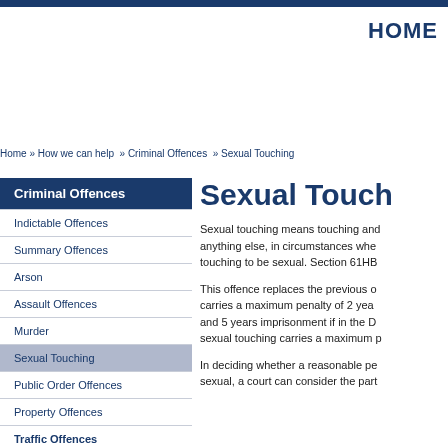HOME
Home » How we can help » Criminal Offences » Sexual Touching
Criminal Offences
Indictable Offences
Summary Offences
Arson
Assault Offences
Murder
Sexual Touching
Public Order Offences
Property Offences
Traffic Offences
Sexual Touching
Sexual touching means touching another person with any part of the body or with anything else, in circumstances where a reasonable person would consider the touching to be sexual. Section 61HB...
This offence replaces the previous offence of indecent assault. The basic offence carries a maximum penalty of 2 years imprisonment, or 5 years if with aggravation, and 5 years imprisonment if in the District Court. Aggravated sexual touching carries a maximum...
In deciding whether a reasonable person would consider the touching to be sexual, a court can consider the part...